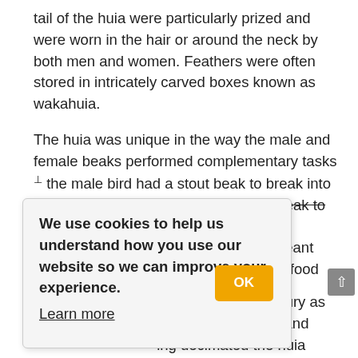tail of the huia were particularly prized and were worn in the hair or around the neck by both men and women. Feathers were often stored in intricately carved boxes known as wakahuia.
The huia was unique in the way the male and female beaks performed complementary tasks ⊥ the male bird had a stout beak to break into logs and the female, a longer curved beak to extract the beetle larvae, which [this differentiation meant between the two for food]
[inct in the 20th century as pread across Britain and ing decimated the huia sighting of huia was , and particularly the tail feathers and collectively the...
[Figure (screenshot): Cookie consent dialog overlay reading: 'We use cookies to help us understand how you use our website so we can improve your experience. Learn more' with an orange OK button.]